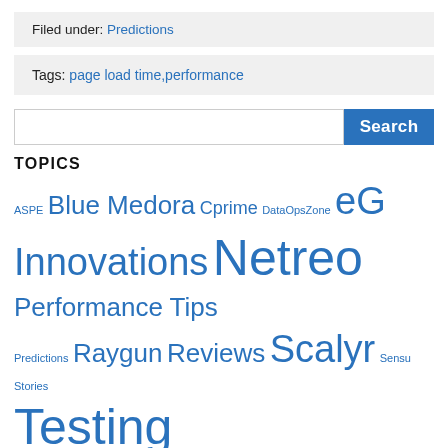Filed under: Predictions
Tags: page load time,performance
TOPICS
ASPE Blue Medora Cprime DataOpsZone eG Innovations Netreo Performance Tips Predictions Raygun Reviews Scalyr Sensu Stories Testing